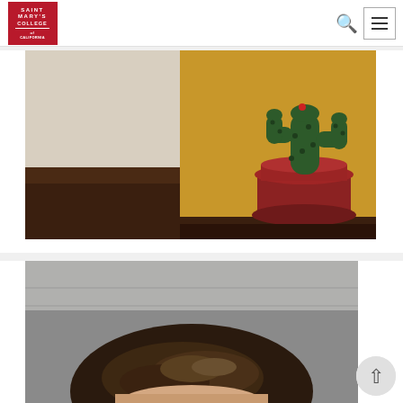[Figure (logo): Saint Mary's College of California logo — red square with white text]
[Figure (photo): A painting of a green cactus in a red terracotta pot against a golden/yellow background, placed on a dark wood surface. The left portion shows a plain wall.]
[Figure (photo): Close-up photo of a person with dark brown hair, partially cropped, indoor setting with grey ceiling visible.]